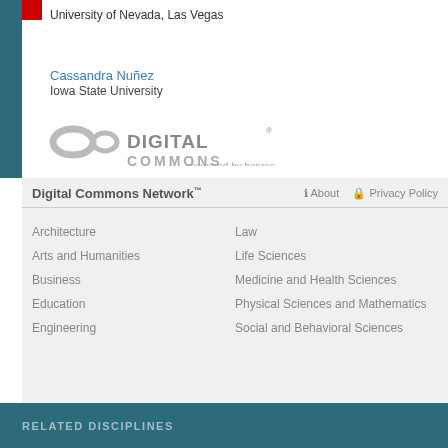University of Nevada, Las Vegas
Cassandra Nuñez
Iowa State University
[Figure (logo): Digital Commons powered by bepress logo]
Digital Commons Network™
Architecture
Arts and Humanities
Business
Education
Engineering
Law
Life Sciences
Medicine and Health Sciences
Physical Sciences and Mathematics
Social and Behavioral Sciences
Search All Life Sciences
RELATED DISCIPLINES